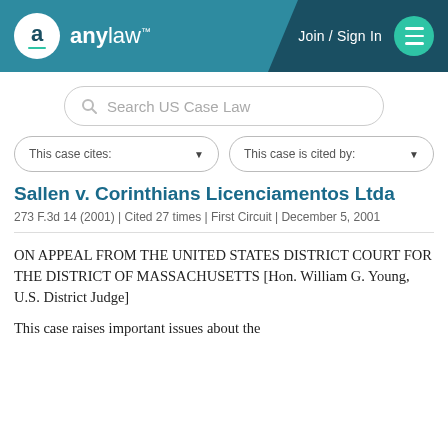anylaw™ | Join / Sign In
Search US Case Law
This case cites:
This case is cited by:
Sallen v. Corinthians Licenciamentos Ltda
273 F.3d 14 (2001) | Cited 27 times | First Circuit | December 5, 2001
ON APPEAL FROM THE UNITED STATES DISTRICT COURT FOR THE DISTRICT OF MASSACHUSETTS [Hon. William G. Young, U.S. District Judge]
This case raises important issues about the